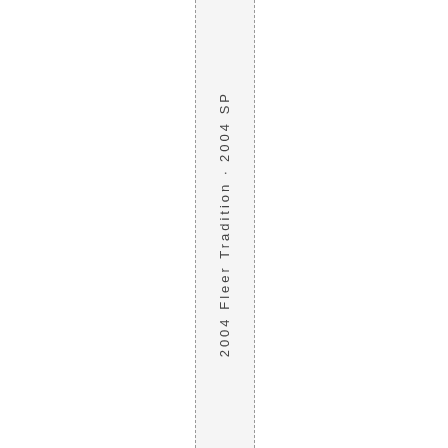2004 Fleer Tradition · 2004 SP